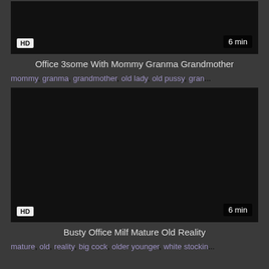[Figure (screenshot): Dark video thumbnail with HD badge and 6 min duration label]
Office 3some With Mommy Granma Grandmother
mommy, granma, grandmother, old lady, old pussy, gran...
[Figure (screenshot): Dark video thumbnail with HD badge and 6 min duration label]
Busty Office Milf Mature Old Reality
mature, old, reality, big cock, older younger, white stockin...